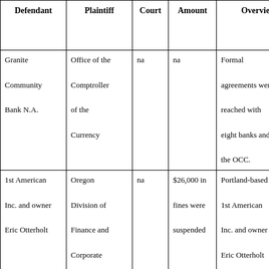| Defendant | Plaintiff | Court | Amount | Overview | Cas |
| --- | --- | --- | --- | --- | --- |
| Granite Community Bank N.A. | Office of the Comptroller of the Currency | na | na | Formal agreements were reached with eight banks and the OCC. | na |
| 1st American Inc. and owner Eric Otterholt | Oregon Division of Finance and Corporate Securities | na | $26,000 in fines were suspended | Portland-based 1st American Inc. and owner Eric Otterholt were ordered to cease and desist from unethical | na |